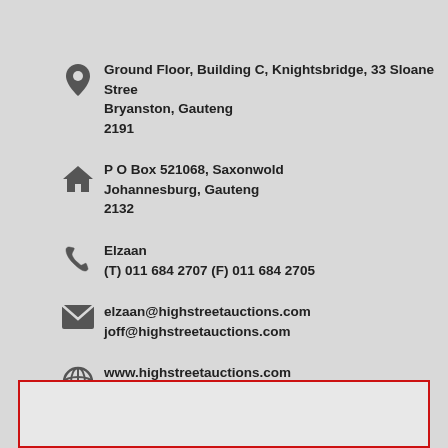Ground Floor, Building C, Knightsbridge, 33 Sloane Street
Bryanston, Gauteng
2191
P O Box 521068, Saxonwold
Johannesburg, Gauteng
2132
Elzaan
(T) 011 684 2707 (F) 011 684 2705
elzaan@highstreetauctions.com
joff@highstreetauctions.com
www.highstreetauctions.com
[Figure (other): Empty red-bordered box at bottom of page]